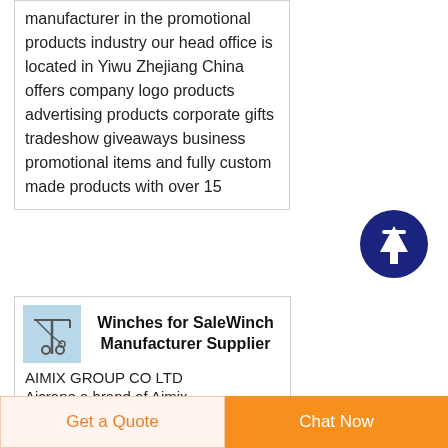manufacturer in the promotional products industry our head office is located in Yiwu Zhejiang China offers company logo products advertising products corporate gifts tradeshow giveaways business promotional items and fully custom made products with over 15
[Figure (illustration): Blue circular scroll-to-top button with white upward arrow]
[Figure (logo): Light blue square logo with crane/winch illustration]
Winches for SaleWinch Manufacturer Supplier
AIMIX GROUP CO LTD
Aicrane a brand of Aimix
Get a Quote
Chat Now